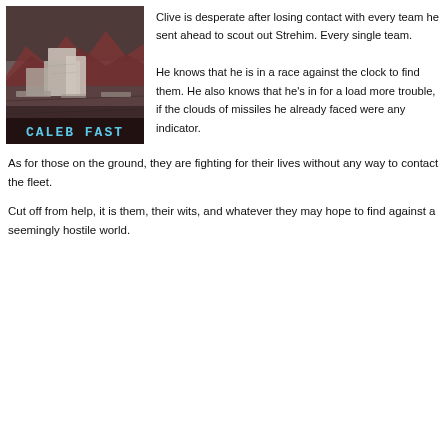[Figure (illustration): Book cover for 'Caleb Fast' showing a sci-fi desert landscape with rocky formations, dark reddish mountains in the background, and the title 'CALEB FAST' displayed in cyan/blue pixel-style font at the bottom center.]
Clive is desperate after losing contact with every team he sent ahead to scout out Strehim. Every single team.

He knows that he is in a race against the clock to find them. He also knows that he's in for a load more trouble, if the clouds of missiles he already faced were any indicator.
As for those on the ground, they are fighting for their lives without any way to contact the fleet.
Cut off from help, it is them, their wits, and whatever they may hope to find against a seemingly hostile world.